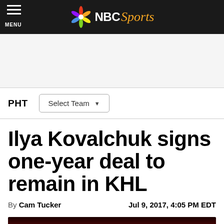NBC Sports — MENU
[Figure (other): Advertisement placeholder area]
PHT   Select Team
Ilya Kovalchuk signs one-year deal to remain in KHL
By Cam Tucker   Jul 9, 2017, 4:05 PM EDT
[Figure (photo): Photo of a hockey player wearing jersey number 71 in a red uniform]